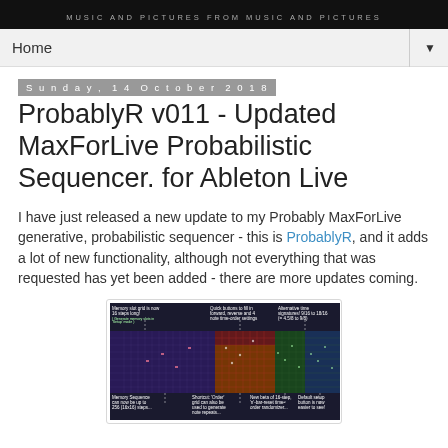MUSIC AND PICTURES FROM MUSIC AND PICTURES
Home
Sunday, 14 October 2018
ProbablyR v011 - Updated MaxForLive Probabilistic Sequencer. for Ableton Live
I have just released a new update to my Probably MaxForLive generative, probabilistic sequencer - this is ProbablyR, and it adds a lot of new functionality, although not everything that was requested has yet been added - there are more updates coming.
[Figure (screenshot): Screenshot of ProbablyR MaxForLive sequencer interface showing memory slot grid, quick fill buttons, alternative time signatures, memory sequence settings, order grid shortcut, 16-step time-order randomizer, and default setup button annotations.]